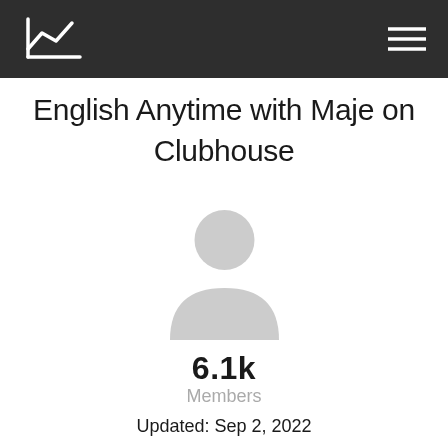Logo and navigation header
English Anytime with Maje on Clubhouse
[Figure (illustration): Generic user avatar placeholder icon in light gray — a circle for the head and a rounded trapezoid for the shoulders/body]
6.1k
Members
Updated: Sep 2, 2022